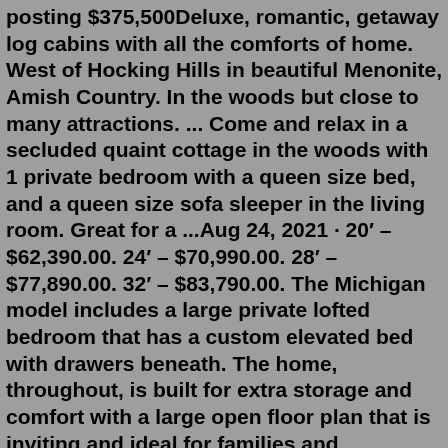posting $375,500Deluxe, romantic, getaway log cabins with all the comforts of home. West of Hocking Hills in beautiful Menonite, Amish Country. In the woods but close to many attractions. ... Come and relax in a secluded quaint cottage in the woods with 1 private bedroom with a queen size bed, and a queen size sofa sleeper in the living room. Great for a ...Aug 24, 2021 · 20′ – $62,390.00. 24′ – $70,990.00. 28′ – $77,890.00. 32′ – $83,790.00. The Michigan model includes a large private lofted bedroom that has a custom elevated bed with drawers beneath. The home, throughout, is built for extra storage and comfort with a large open floor plan that is inviting and ideal for families and entertaining. These exclusive and lavish suites of 45 sqm offer an impressive private pool and come with a separate bedroom and living room for an extra degree of privacy. They boast a fully equipped kitchen and a private bathroom with rain shower. Unemployment Rates Down in All Metro Areas, Jobs Up in Most Areas in June. SPRINGFIELD - The unemployment rate decreased in all fourteen Illinois metropolitan